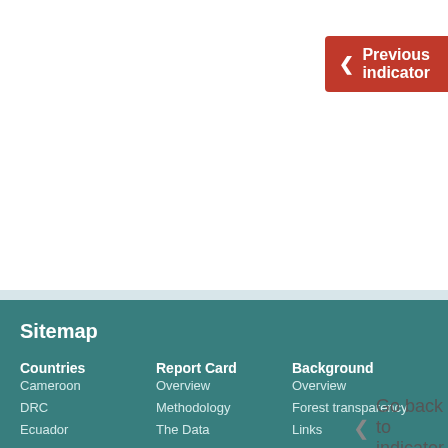Previous indicator
Go back to indicator
Sitemap
Countries
Cameroon
DRC
Ecuador
Ghana
Guatemala
Liberia
Peru
Report Card
Overview
Methodology
The Data
Lessons learnt
Downloads
Achievements
Background
Overview
Forest transparency
Links
References
How report cards help
Hosted by
All country specific pages on the website are independently managed by the rele